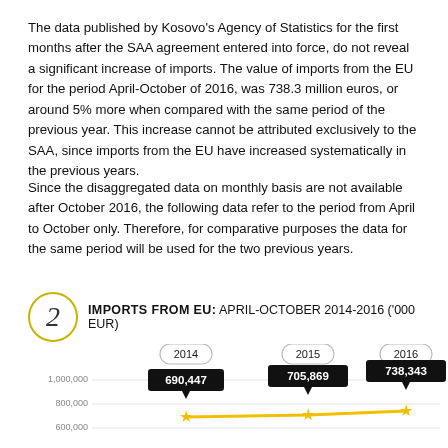The data published by Kosovo's Agency of Statistics for the first months after the SAA agreement entered into force, do not reveal a significant increase of imports. The value of imports from the EU for the period April-October of 2016, was 738.3 million euros, or around 5% more when compared with the same period of the previous year. This increase cannot be attributed exclusively to the SAA, since imports from the EU have increased systematically in the previous years.
Since the disaggregated data on monthly basis are not available after October 2016, the following data refer to the period from April to October only. Therefore, for comparative purposes the data for the same period will be used for the two previous years.
[Figure (line-chart): IMPORTS FROM EU: APRIL-OCTOBER 2014-2016 ('000 EUR)]